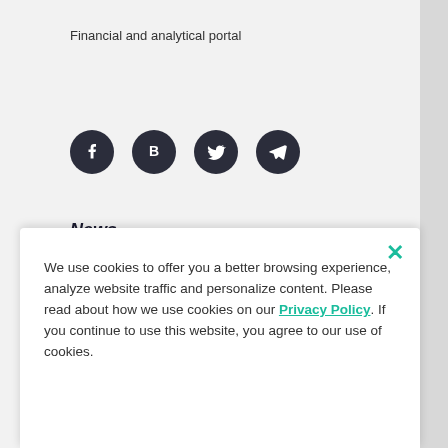Financial and analytical portal
[Figure (illustration): Four social media icon circles (Facebook, Buzz/B, Twitter, Telegram) in dark navy color]
News
Trending
Technology
We use cookies to offer you a better browsing experience, analyze website traffic and personalize content. Please read about how we use cookies on our Privacy Policy. If you continue to use this website, you agree to our use of cookies.